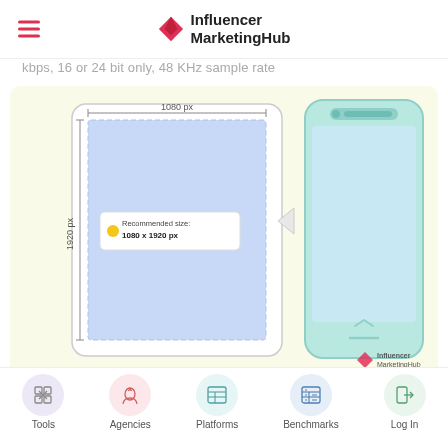Influencer MarketingHub
kbps, 16 or 24 bit only, 48 KHz sample rate
[Figure (infographic): Infographic showing recommended video dimensions: a portrait frame labeled 1080 px wide and 1920 px tall with a yellow tooltip 'Recommended size: 1080 x 1920 px', alongside a smartphone illustration showing the video displayed on screen. Influencer MarketingHub logo at bottom right.]
Tips: Longform videos must contain "live and/or motion
Tools   Agencies   Platforms   Benchmarks   Log In